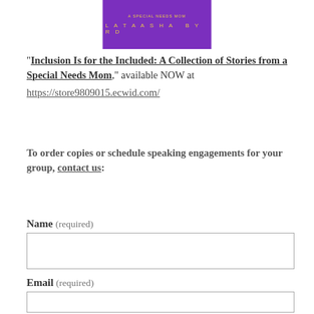[Figure (illustration): Book cover with purple background, subtitle 'A Special Needs Mom' in gold text, and author name 'LATAASHA BYRD' in gold spaced letters]
“Inclusion Is for the Included: A Collection of Stories from a Special Needs Mom,” available NOW at https://store9809015.ecwid.com/
To order copies or schedule speaking engagements for your group, contact us:
Name (required)
Email (required)